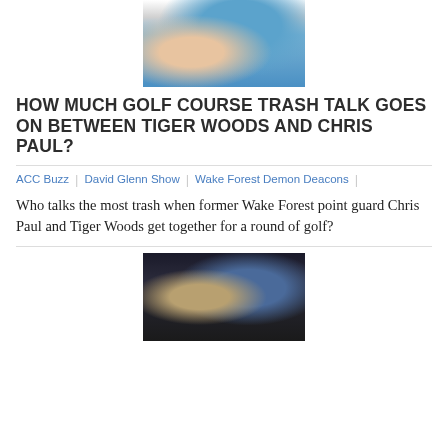[Figure (photo): Two men on a golf course, one wearing a blue Nike polo shirt]
HOW MUCH GOLF COURSE TRASH TALK GOES ON BETWEEN TIGER WOODS AND CHRIS PAUL?
ACC Buzz | David Glenn Show | Wake Forest Demon Deacons
Who talks the most trash when former Wake Forest point guard Chris Paul and Tiger Woods get together for a round of golf?
[Figure (photo): Football players during a game, one in a Saints white uniform and one in a Panthers blue uniform]